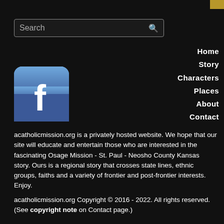[Figure (screenshot): Gold accent bar in top-right corner]
[Figure (screenshot): Search input box with magnifying glass icon]
Home
Story
Characters
Places
About
Contact
[Figure (logo): Facebook 'f' logo icon in blue rounded square]
acatholicmission.org is a privately hosted website.  We hope that our site will educate and entertain those who are interested in the fascinating Osage Mission - St.  Paul - Neosho County Kansas story.  Ours is a regional story that crosses state lines, ethnic groups, faiths and a variety of frontier and post-frontier interests.  Enjoy.
acatholicmission.org Copyright © 2016 - 2022. All rights reserved. (See copyright note on Contact page.)